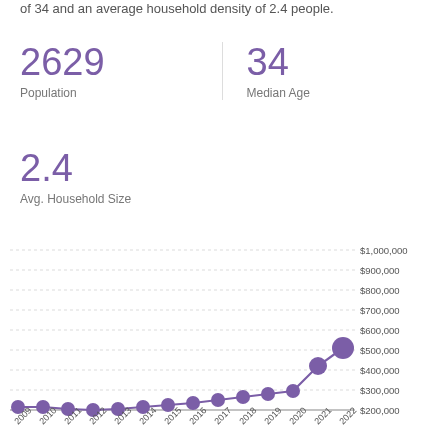of 34 and an average household density of 2.4 people.
2629
Population
34
Median Age
2.4
Avg. Household Size
[Figure (line-chart): Home Value Over Time]